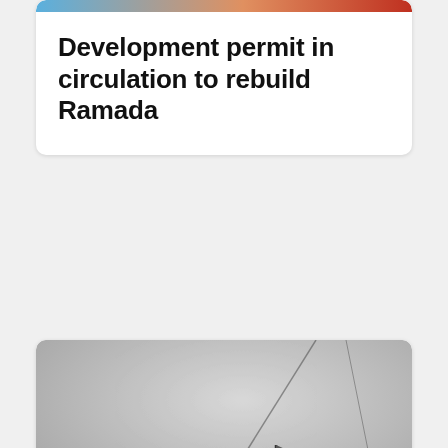[Figure (photo): Partial top image, colorful — cropped at top of page, only bottom edge visible]
Development permit in circulation to rebuild Ramada
[Figure (photo): Black and white historical photograph of military landing craft and boats at sea during the Dieppe Raid, WWII]
80 years after Dieppe, postcards share stories of bli…